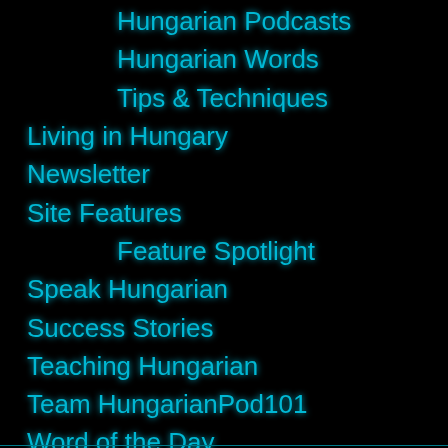Hungarian Podcasts
Hungarian Words
Tips & Techniques
Living in Hungary
Newsletter
Site Features
Feature Spotlight
Speak Hungarian
Success Stories
Teaching Hungarian
Team HungarianPod101
Word of the Day